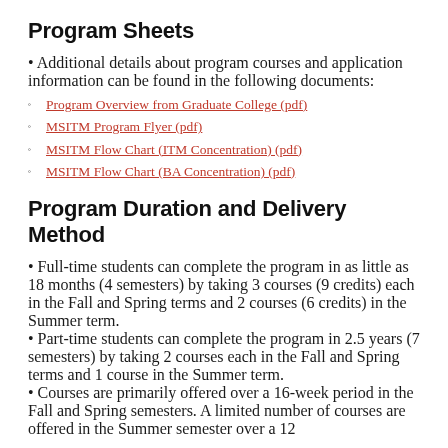Program Sheets
Additional details about program courses and application information can be found in the following documents:
Program Overview from Graduate College (pdf)
MSITM Program Flyer (pdf)
MSITM Flow Chart (ITM Concentration) (pdf)
MSITM Flow Chart (BA Concentration) (pdf)
Program Duration and Delivery Method
Full-time students can complete the program in as little as 18 months (4 semesters) by taking 3 courses (9 credits) each in the Fall and Spring terms and 2 courses (6 credits) in the Summer term.
Part-time students can complete the program in 2.5 years (7 semesters) by taking 2 courses each in the Fall and Spring terms and 1 course in the Summer term.
Courses are primarily offered over a 16-week period in the Fall and Spring semesters. A limited number of courses are offered in the Summer semester over a 12